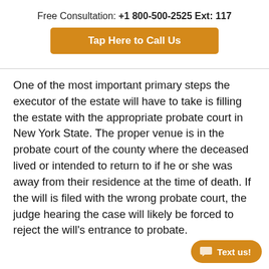Free Consultation: +1 800-500-2525 Ext: 117
[Figure (other): Orange button labeled 'Tap Here to Call Us']
One of the most important primary steps the executor of the estate will have to take is filling the estate with the appropriate probate court in New York State. The proper venue is in the probate court of the county where the deceased lived or intended to return to if he or she was away from their residence at the time of death. If the will is filed with the wrong probate court, the judge hearing the case will likely be forced to reject the will’s entrance to probate.
[Figure (other): Orange rounded button with chat icon labeled 'Text us!']